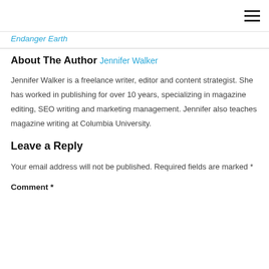Endanger Earth
About The Author
Jennifer Walker
Jennifer Walker is a freelance writer, editor and content strategist. She has worked in publishing for over 10 years, specializing in magazine editing, SEO writing and marketing management. Jennifer also teaches magazine writing at Columbia University.
Leave a Reply
Your email address will not be published. Required fields are marked *
Comment *